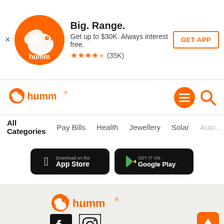[Figure (screenshot): Humm app banner advertisement with orange bird logo, text 'Big. Range. Get up to $30K. Always interest free.' with 4.5 star rating (35K reviews) and GET APP button]
[Figure (logo): Humm logo in orange with bird icon in navigation bar]
[Figure (screenshot): Navigation icons: orange hamburger menu circle and orange search icon]
All Categories  Pay Bills  Health  Jewellery  Solar  Auto...
[Figure (screenshot): Apple App Store and Google Play store download buttons (partially visible)]
[Figure (logo): Humm logo in orange on footer background]
[Figure (screenshot): Social media icons: Facebook and Instagram, plus back-to-top orange button with arrow, and Australian flag icon at bottom]